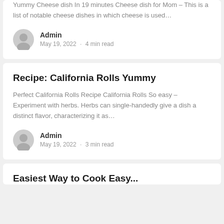Yummy Cheese dish In 19 minutes Cheese dish for Mom – This is a list of notable cheese dishes in which cheese is used...
Admin
May 19, 2022 · 4 min read
Recipe: California Rolls Yummy
Perfect California Rolls Recipe California Rolls So easy – Experiment with herbs. Herbs can single-handedly give a dish a distinct flavor, characterizing it as...
Admin
May 19, 2022 · 3 min read
Easiest Way to Cook Easy...